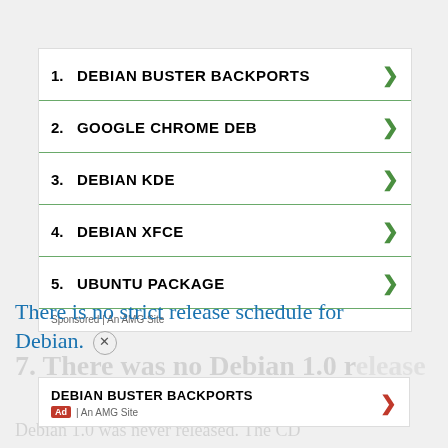1. DEBIAN BUSTER BACKPORTS
2. GOOGLE CHROME DEB
3. DEBIAN KDE
4. DEBIAN XFCE
5. UBUNTU PACKAGE
Sponsored | An AMG Site
There is no strict release schedule for Debian.
7. There was no Debian 1.0 release
DEBIAN BUSTER BACKPORTS
Ad | An AMG Site
Debian 1.0 was never released. The CD